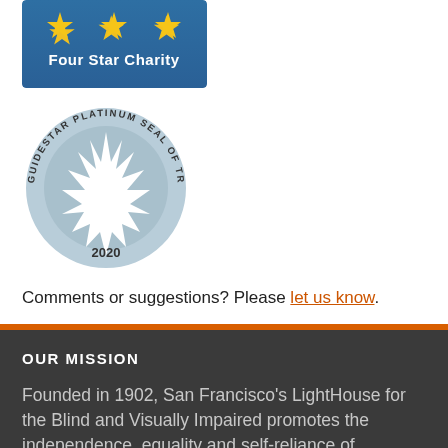[Figure (logo): Charity Navigator Four Star Charity badge — blue background with three gold stars and white text 'Four Star Charity']
[Figure (logo): GuideStar Platinum Seal of Transparency 2020 — circular seal with star burst design in light blue, text around the circumference reading 'GUIDESTAR PLATINUM SEAL OF TRANSPARENCY', '2020' at bottom]
Comments or suggestions? Please let us know.
OUR MISSION
Founded in 1902, San Francisco's LightHouse for the Blind and Visually Impaired promotes the independence, equality and self-reliance of